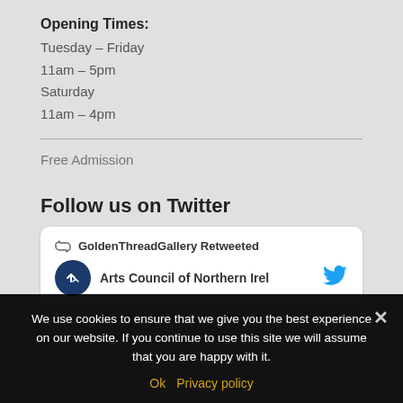Opening Times:
Tuesday – Friday
11am – 5pm
Saturday
11am – 4pm
Free Admission
Follow us on Twitter
[Figure (screenshot): Tweet card showing GoldenThreadGallery Retweeted and Arts Council of Northern Irel... with Twitter bird icon and dark avatar]
We use cookies to ensure that we give you the best experience on our website. If you continue to use this site we will assume that you are happy with it.
Ok   Privacy policy